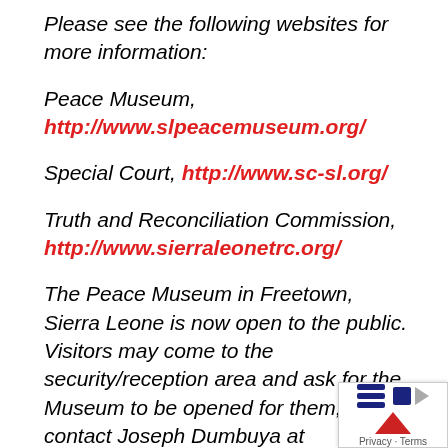Please see the following websites for more information:
Peace Museum, http://www.slpeacemuseum.org/
Special Court, http://www.sc-sl.org/
Truth and Reconciliation Commission, http://www.sierraleonetrc.org/
The Peace Museum in Freetown, Sierra Leone is now open to the public. Visitors may come to the security/reception area and ask for the Museum to be opened for them, or contact Joseph Dumbuya at slpeacemuseum@gmail.com an appointment and personal tour. Please also